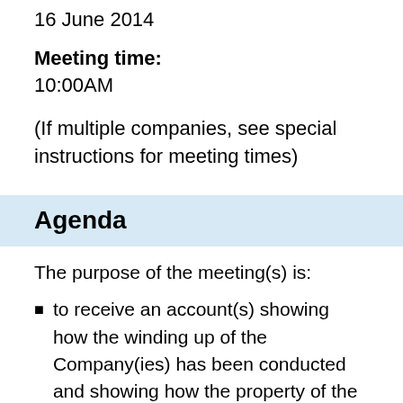16 June 2014
Meeting time:
10:00AM
(If multiple companies, see special instructions for meeting times)
Agenda
The purpose of the meeting(s) is:
to receive an account(s) showing how the winding up of the Company(ies) has been conducted and showing how the property of the Company(ies) has been disposed of, and